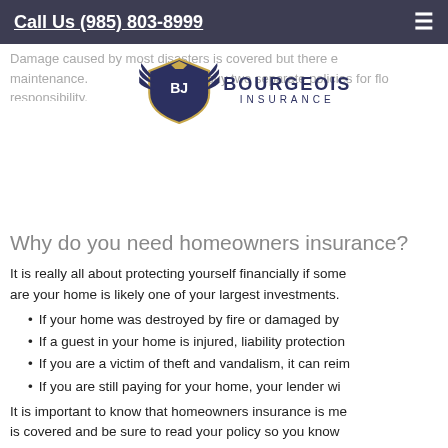Call Us (985) 803-8999
Damage caused by most disasters is covered but there are exclusions like maintenance. You must buy two separate policies for floo... responsibility.
[Figure (logo): Bourgeois Insurance logo with shield and eagle wings, text reads BJ BOURGEOIS INSURANCE]
Why do you need homeowners insurance?
It is really all about protecting yourself financially if some... are your home is likely one of your largest investments.
If your home was destroyed by fire or damaged by...
If a guest in your home is injured, liability protection...
If you are a victim of theft and vandalism, it can reim...
If you are still paying for your home, your lender wi...
It is important to know that homeowners insurance is me... is covered and be sure to read your policy so you know...
Things to consider and questions to ask you...